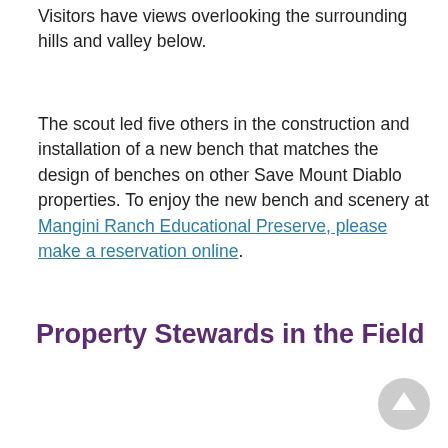Visitors have views overlooking the surrounding hills and valley below.
The scout led five others in the construction and installation of a new bench that matches the design of benches on other Save Mount Diablo properties. To enjoy the new bench and scenery at Mangini Ranch Educational Preserve, please make a reservation online.
Property Stewards in the Field